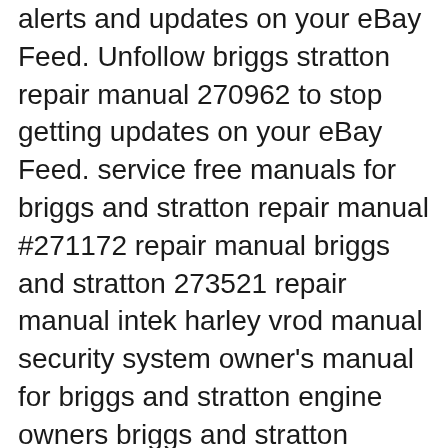alerts and updates on your eBay Feed. Unfollow briggs stratton repair manual 270962 to stop getting updates on your eBay Feed. service free manuals for briggs and stratton repair manual #271172 repair manual briggs and stratton 273521 repair manual intek harley vrod manual security system owner's manual for briggs and stratton engine owners briggs and stratton 287707-0225-01 - oem master class adventist history amazon.com: briggs and stratton repair manual
Jun 16, 2013B B· Briggs Repair Manual #271172 Pdf. DOWNLOAD HERE. For Briggs Twin-Cylinder L-Head engines... DOWNLOAD HERE. Similar manuals: